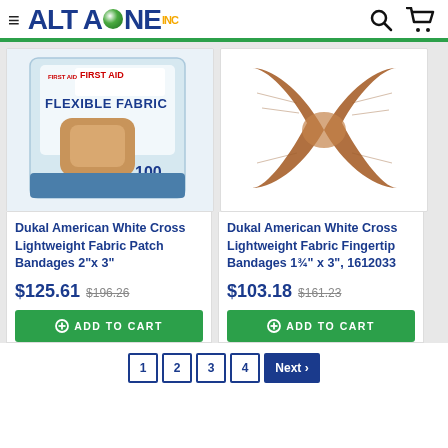[Figure (logo): AltaOne Inc logo with blue text, green ball, and yellow ONE]
[Figure (photo): Box of Dukal American White Cross Flexible Fabric bandages, 100 count]
Dukal American White Cross Lightweight Fabric Patch Bandages 2"x 3"
$125.61 $196.26
[Figure (photo): Single fingertip bandage, brown fabric, butterfly/bowtie shape]
Dukal American White Cross Lightweight Fabric Fingertip Bandages 1¾" x 3", 1612033
$103.18 $161.23